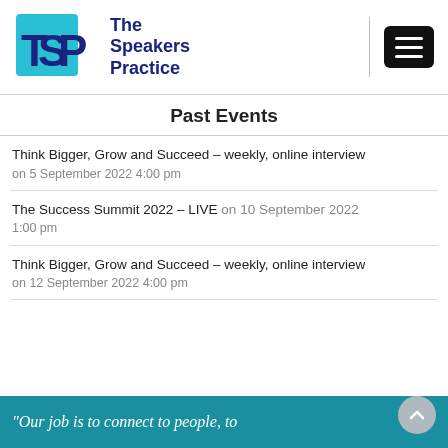[Figure (logo): TSP - The Speakers Practice logo with cyan/blue TSP letters and dark blue text]
Past Events
Think Bigger, Grow and Succeed – weekly, online interview on 5 September 2022 4:00 pm
The Success Summit 2022 – LIVE on 10 September 2022 1:00 pm
Think Bigger, Grow and Succeed – weekly, online interview on 12 September 2022 4:00 pm
"Our job is to connect to people, to